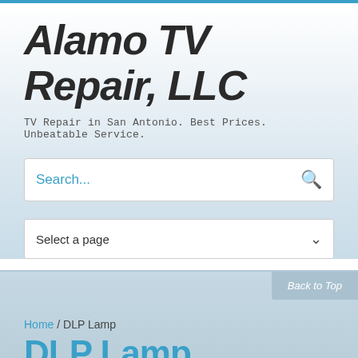Alamo TV Repair, LLC
TV Repair in San Antonio. Best Prices. Unbeatable Service.
[Figure (screenshot): Search box with placeholder text 'Search...' and a blue search icon on the right]
[Figure (screenshot): Dropdown selector with label 'Select a page' and a chevron arrow on the right]
Back to Top
Home / DLP Lamp
DLP Lamp